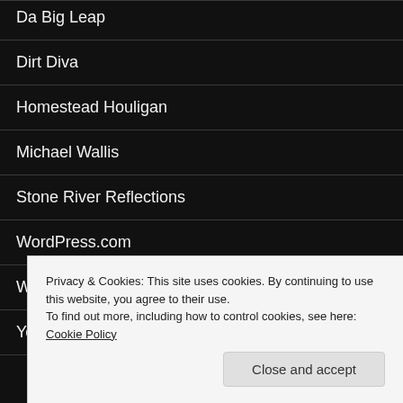Da Big Leap
Dirt Diva
Homestead Houligan
Michael Wallis
Stone River Reflections
WordPress.com
WordPress.org
Yet Another Small Town Moment
Privacy & Cookies: This site uses cookies. By continuing to use this website, you agree to their use.
To find out more, including how to control cookies, see here: Cookie Policy
Close and accept